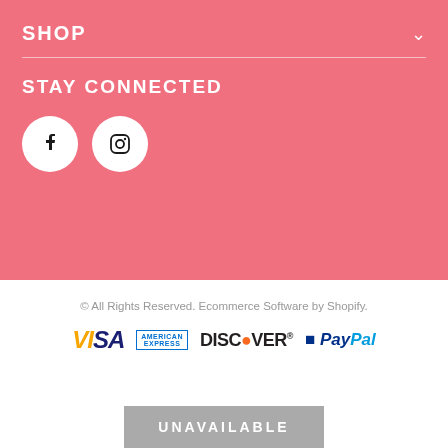SHOP
STAY CONNECTED
[Figure (illustration): Facebook and Instagram social media icons as white circles with black symbols on pink background]
© All Rights Reserved. Ecommerce Software by Shopify.
[Figure (illustration): Payment method logos: VISA, American Express, Discover, PayPal]
UNAVAILABLE